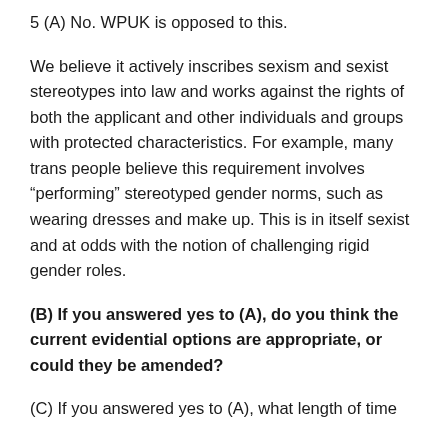5 (A) No. WPUK is opposed to this.
We believe it actively inscribes sexism and sexist stereotypes into law and works against the rights of both the applicant and other individuals and groups with protected characteristics. For example, many trans people believe this requirement involves “performing” stereotyped gender norms, such as wearing dresses and make up. This is in itself sexist and at odds with the notion of challenging rigid gender roles.
(B) If you answered yes to (A), do you think the current evidential options are appropriate, or could they be amended?
(C) If you answered yes to (A), what length of time